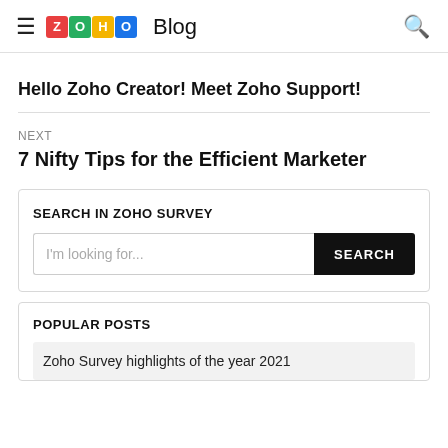Zoho Blog
Hello Zoho Creator! Meet Zoho Support!
NEXT
7 Nifty Tips for the Efficient Marketer
SEARCH IN ZOHO SURVEY
I'm looking for...
POPULAR POSTS
Zoho Survey highlights of the year 2021